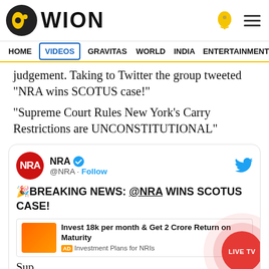WION
HOME  VIDEOS  GRAVITAS  WORLD  INDIA  ENTERTAINMENT  SPORTS
judgement. Taking to Twitter the group tweeted "NRA wins SCOTUS case!"
"Supreme Court Rules New York's Carry Restrictions are UNCONSTITUTIONAL"
[Figure (screenshot): NRA Twitter/X tweet card showing: NRA @NRA · Follow. 🎉BREAKING NEWS: @NRA WINS SCOTUS CASE! Supreme Court Rules New York's Carry Restrictions are UNCONSTITUTIONAL]
Invest 18k per month & Get 2 Crore Return on Maturity AD Investment Plans for NRIs